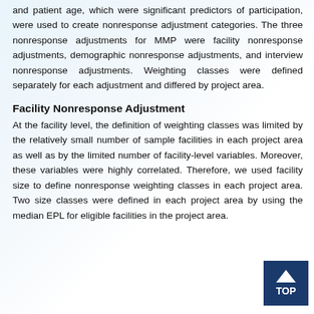and patient age, which were significant predictors of participation, were used to create nonresponse adjustment categories. The three nonresponse adjustments for MMP were facility nonresponse adjustments, demographic nonresponse adjustments, and interview nonresponse adjustments. Weighting classes were defined separately for each adjustment and differed by project area.
Facility Nonresponse Adjustment
At the facility level, the definition of weighting classes was limited by the relatively small number of sample facilities in each project area as well as by the limited number of facility-level variables. Moreover, these variables were highly correlated. Therefore, we used facility size to define nonresponse weighting classes in each project area. Two size classes were defined in each project area by using the median EPL for eligible facilities in the project area.